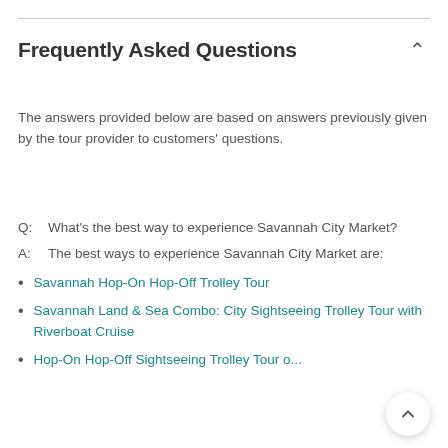Frequently Asked Questions
The answers provided below are based on answers previously given by the tour provider to customers' questions.
Q:  What's the best way to experience Savannah City Market?
A:  The best ways to experience Savannah City Market are:
Savannah Hop-On Hop-Off Trolley Tour
Savannah Land & Sea Combo: City Sightseeing Trolley Tour with Riverboat Cruise
Hop-On Hop-Off Sightseeing Trolley Tour o...